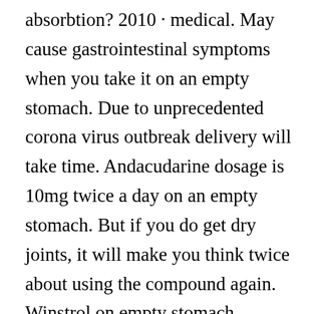absorbtion? 2010 · medical. May cause gastrointestinal symptoms when you take it on an empty stomach. Due to unprecedented corona virus outbreak delivery will take time. Andacudarine dosage is 10mg twice a day on an empty stomach. But if you do get dry joints, it will make you think twice about using the compound again. Winstrol on empty stomach discomfort. It does not matter if you take ostarine on an empty stomach or with food. Also, since it is not a stimulant, taking it near bedtime will not affect sleep in any way